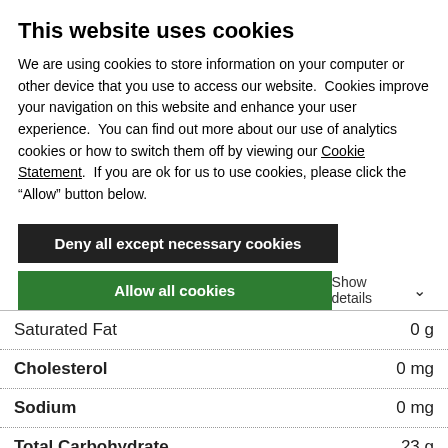This website uses cookies
We are using cookies to store information on your computer or other device that you use to access our website. Cookies improve your navigation on this website and enhance your user experience. You can find out more about our use of analytics cookies or how to switch them off by viewing our Cookie Statement. If you are ok for us to use cookies, please click the “Allow” button below.
Deny all except necessary cookies
Allow all cookies
Show details ⌄
| Nutrient | Amount |
| --- | --- |
| Saturated Fat | 0 g |
| Cholesterol | 0 mg |
| Sodium | 0 mg |
| Total Carbohydrate | 23 g |
| Dietary Fiber | 4 g |
| Sugars | 17 g |
| Protein | 1 g |